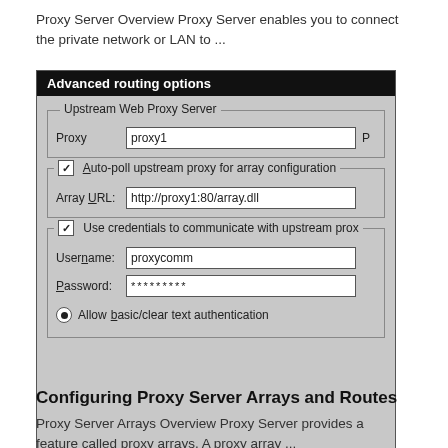Proxy Server Overview Proxy Server enables you to connect the private network or LAN to ...
[Figure (screenshot): Screenshot of Advanced routing options dialog showing Upstream Web Proxy Server section with Proxy field containing 'proxy1', Auto-poll upstream proxy for array configuration checkbox checked with Array URL 'http://proxy1:80/array.dll', and Use credentials to communicate with upstream proxy section with Username 'proxycomm', Password field with asterisks, and Allow basic/clear text authentication radio button selected.]
Configuring Proxy Server Arrays and Routes
Proxy Server Arrays Overview Proxy Server provides a feature called proxy arrays. A proxy array ...